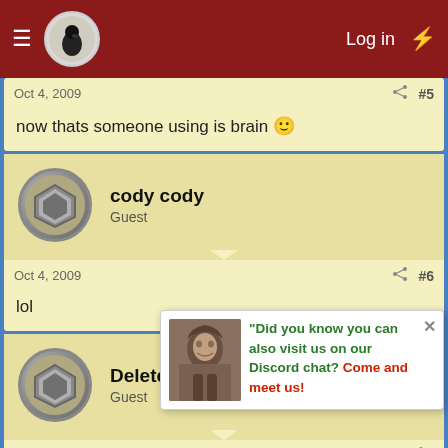Log in
Oct 4, 2009  #5
now thats someone using is brain 🙂
cody cody
Guest
Oct 4, 2009  #6
lol
DeletedUser62440
Guest
Oct 4, 2009
Ask them anyway... love you
"Did you know you can also visit us on our Discord chat? Come and meet us!
Gammlen